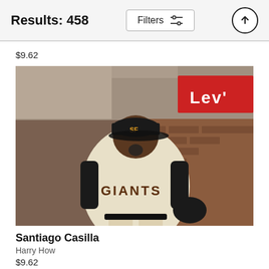Results: 458
$9.62
[Figure (photo): SF Giants baseball player Santiago Casilla in cream GIANTS uniform and black cap, running and yelling on field, Levi's sign visible in background]
Santiago Casilla
Harry How
$9.62